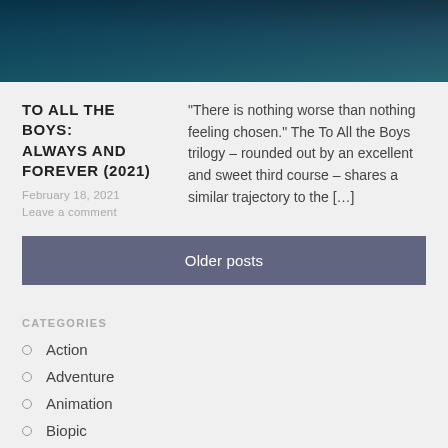[Figure (photo): Close-up photo of two people facing each other, dark and teal bokeh background]
TO ALL THE BOYS: ALWAYS AND FOREVER (2021)
February 18, 2021
Leave a comment
“There is nothing worse than nothing feeling chosen.” The To All the Boys trilogy – rounded out by an excellent and sweet third course – shares a similar trajectory to the […]
Older posts
CATEGORIES
Action
Adventure
Animation
Biopic
Comedy